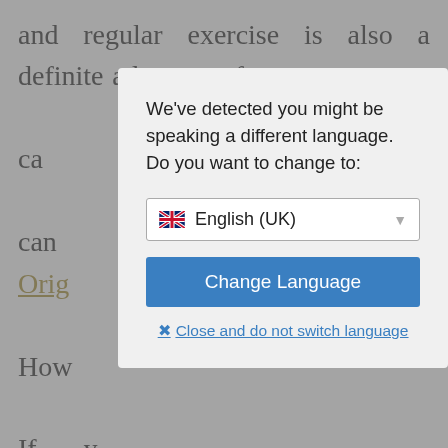and regular exercise is also a definite advantage for weight loss if it is accompanied by a reduction in calories. You can Body Origins. How If you carb diet, sure you Diets that r an easy-to-follow plan are best for quick weight loss. The cabbage soup diet or the Atkins diet can help you lose a few pounds, but they are just too hard to follow for a long time. A good diet might
We've detected you might be speaking a different language. Do you want to change to:
English (UK)
Change Language
Close and do not switch language